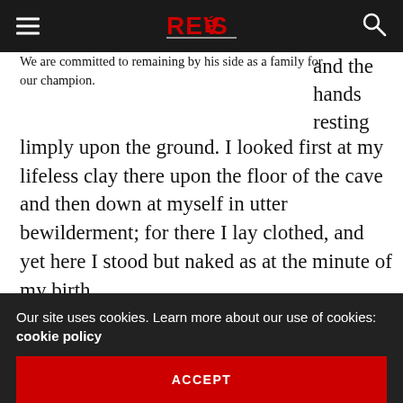REVAS [logo]
We are committed to remaining by his side as a family for our champion.
and the hands resting limply upon the ground. I looked first at my lifeless clay there upon the floor of the cave and then down at myself in utter bewilderment; for there I lay clothed, and yet here I stood but naked as at the minute of my birth.
The transition had been so sudden and so unexpected that it left me for a moment forgetful of aught else than my strange metamorphosis. My first
Our site uses cookies. Learn more about our use of cookies: cookie policy
ACCEPT